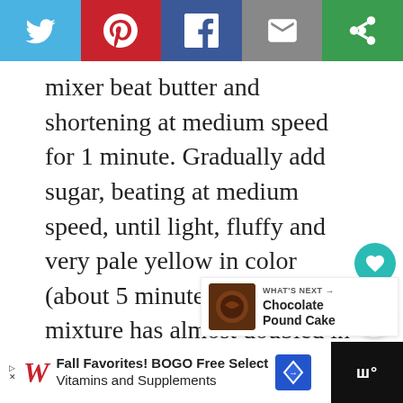[Figure (screenshot): Social sharing bar with Twitter (blue), Pinterest (red), Facebook (blue), Email (gray), and another share option (green) buttons]
mixer beat butter and shortening at medium speed for 1 minute. Gradually add sugar, beating at medium speed, until light, fluffy and very pale yellow in color (about 5 minutes). When the mixture has almost doubled in size, everything's been properly creamed.
[Figure (screenshot): Floating action buttons: heart/like button (teal circle) and share button (white circle with share icon)]
[Figure (screenshot): What's Next card showing a chocolate pound cake image with text 'WHAT'S NEXT → Chocolate Pound Cake']
[Figure (screenshot): Advertisement bar: Walgreens 'Fall Favorites! BOGO Free Select Vitamins and Supplements' ad with navigation icon and dark right panel with weather/app icon]